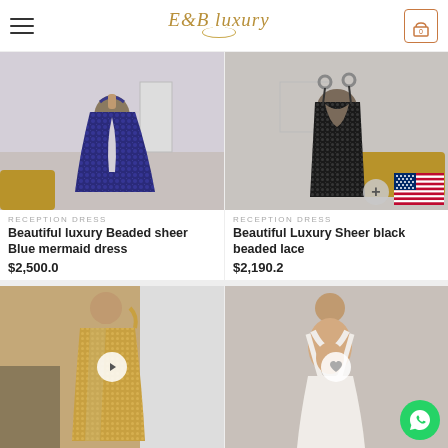E&B Luxury — navigation header with hamburger menu and cart icon showing 0
[Figure (photo): Blue sequined mermaid dress on a mannequin, halter neck, one-shoulder style]
RECEPTION DRESS
Beautiful luxury Beaded sheer Blue mermaid dress
$2,500.0
[Figure (photo): Black beaded lace sheer dress on a mannequin, back view, with US flag overlay]
RECEPTION DRESS
Beautiful Luxury Sheer black beaded lace
$2,190.2
[Figure (photo): Gold/champagne sequined dress on a mannequin, one shoulder style]
[Figure (photo): White cross-back dress on a mannequin, back view]